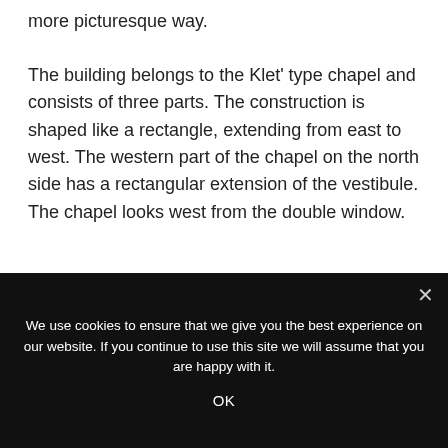more picturesque way.
The building belongs to the Klet' type chapel and consists of three parts. The construction is shaped like a rectangle, extending from east to west. The western part of the chapel on the north side has a rectangular extension of the vestibule. The chapel looks west from the double window.
[Figure (photo): Photograph of a cross or antenna silhouette against a grey cloudy sky, cropped at the bottom by a cookie consent overlay.]
We use cookies to ensure that we give you the best experience on our website. If you continue to use this site we will assume that you are happy with it.
OK